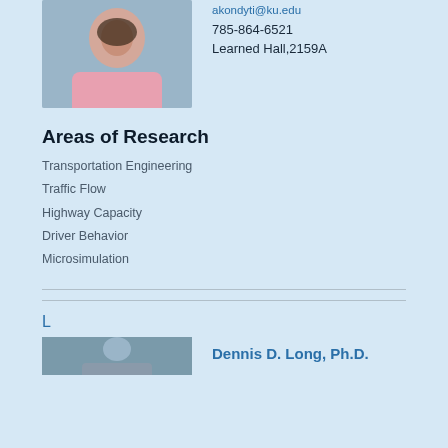[Figure (photo): Faculty profile photo of a woman with dark hair wearing a pink top]
akondyti@ku.edu
785-864-6521
Learned Hall,2159A
Areas of Research
Transportation Engineering
Traffic Flow
Highway Capacity
Driver Behavior
Microsimulation
L
Dennis D. Long, Ph.D.